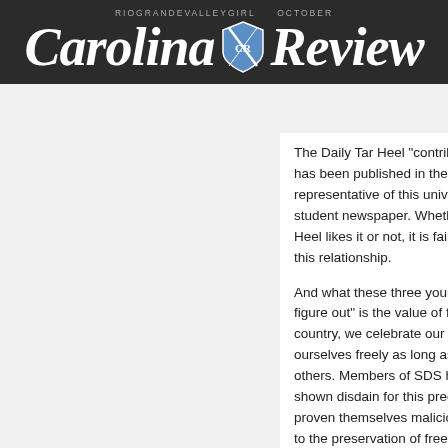[Figure (logo): Carolina Review newspaper masthead logo with blackletter typography and shield emblem, on dark background. Text 'RIOGRANDEVALLEYGIRL OCTOBER' appears above in small caps.]
The Daily Tar Heel "contributing columnist" has been published in the NewsObserver as a representative of this university's official student newspaper. Whether The Daily Tar Heel likes it or not, it is fair to shine a light on this relationship.
And what these three young men "need to figure out" is the value of freedom. In this country, we celebrate our right to express ourselves freely as long as we do not harm others. Members of SDS have repeatedly shown disdain for this precious gift. They have proven themselves malicious and dangerous to the preservation of freedom. And now a student with whom the Daily Tar Heel willingly associates has joined the SDS in their disdain.